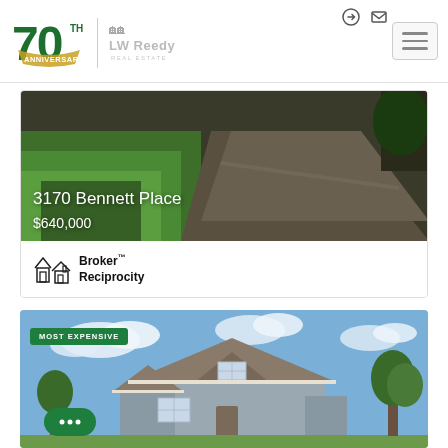[Figure (logo): LW Reedy Real Estate 70th Anniversary logo with house icon]
[Figure (screenshot): Navigation hamburger menu button and header icons (login, email)]
[Figure (photo): Property listing photo for 3170 Bennett Place showing grass and driveway]
3170 Bennett Place
$640,000
[Figure (logo): Broker Reciprocity logo with house icon]
[Figure (photo): Property listing photo showing a gray house with MOST EXPENSIVE badge]
MOST EXPENSIVE